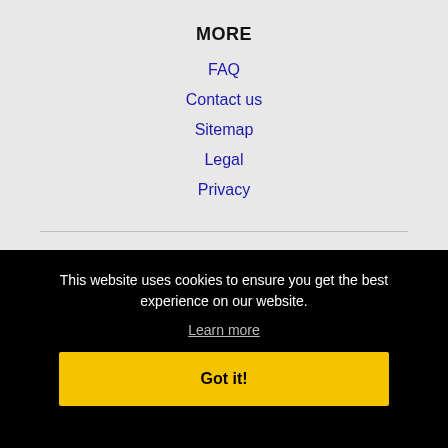MORE
FAQ
Contact us
Sitemap
Legal
Privacy
NEARBY CITIES
This website uses cookies to ensure you get the best experience on our website.
Learn more
Got it!